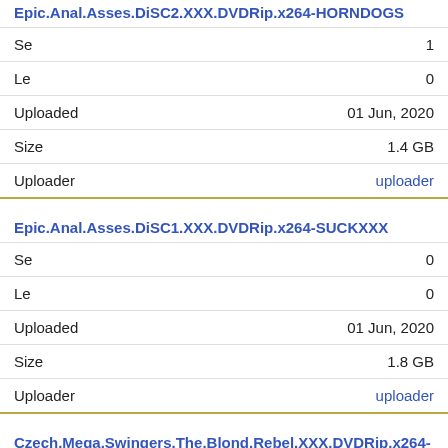Epic.Anal.Asses.DiSC2.XXX.DVDRip.x264-HORNDOGS
| Field | Value |
| --- | --- |
| Se | 1 |
| Le | 0 |
| Uploaded | 01 Jun, 2020 |
| Size | 1.4 GB |
| Uploader | uploader |
Epic.Anal.Asses.DiSC1.XXX.DVDRip.x264-SUCKXXX
| Field | Value |
| --- | --- |
| Se | 0 |
| Le | 0 |
| Uploaded | 01 Jun, 2020 |
| Size | 1.8 GB |
| Uploader | uploader |
Czech.Mega.Swingers.The.Blond.Rebel.XXX.DVDRip.x264-SUCKXXX